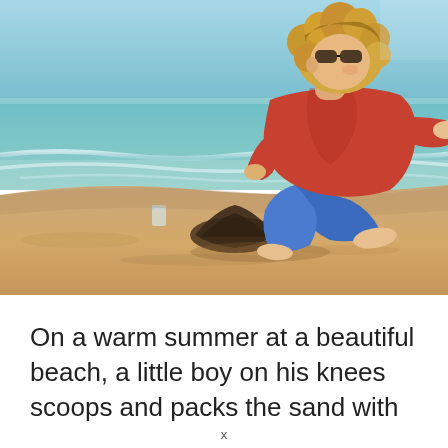[Figure (photo): A young curly-haired boy in a red shirt and blue shorts crouching on a sandy beach, scooping and packing sand near the water's edge. The ocean waves are visible in the background.]
On a warm summer at a beautiful beach, a little boy on his knees scoops and packs the sand with